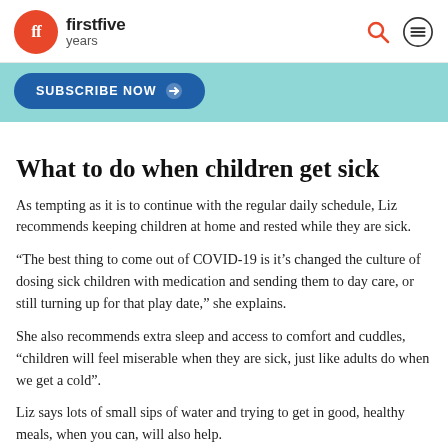firstfive years
[Figure (screenshot): Subscribe Now banner button on teal/cyan background]
What to do when children get sick
As tempting as it is to continue with the regular daily schedule, Liz recommends keeping children at home and rested while they are sick.
“The best thing to come out of COVID-19 is it’s changed the culture of dosing sick children with medication and sending them to day care, or still turning up for that play date,” she explains.
She also recommends extra sleep and access to comfort and cuddles, “children will feel miserable when they are sick, just like adults do when we get a cold”.
Liz says lots of small sips of water and trying to get in good, healthy meals, when you can, will also help.